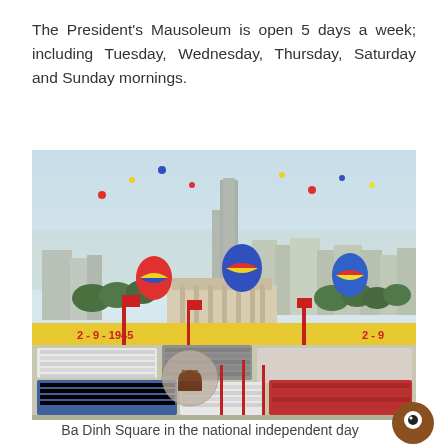The President's Mausoleum is open 5 days a week; including Tuesday, Wednesday, Thursday, Saturday and Sunday mornings.
[Figure (photo): Aerial view of Ba Dinh Square during Vietnam's national independence day celebration. Large crowds in colorful formations fill the square. Banners reading '2-9-1945' and '2-9' are visible. Colorful balloons float in the sky above the square. A tall skyscraper and city skyline appear in the background along with Ho Chi Minh Mausoleum and trees.]
Ba Dinh Square in the national independent day